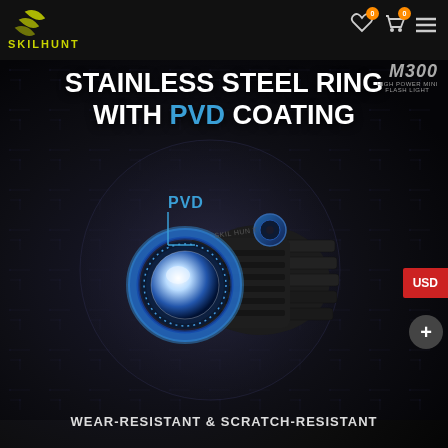[Figure (screenshot): Skilhunt product page screenshot showing M300 High Power Mini Flashlight with stainless steel ring with PVD coating. Dark background with flashlight image in circular highlight, blue PVD ring visible on flashlight lens area. Navigation bar at top with Skilhunt logo, wishlist, cart, and menu icons. USD currency button on right side.]
STAINLESS STEEL RING WITH PVD COATING
WEAR-RESISTANT & SCRATCH-RESISTANT